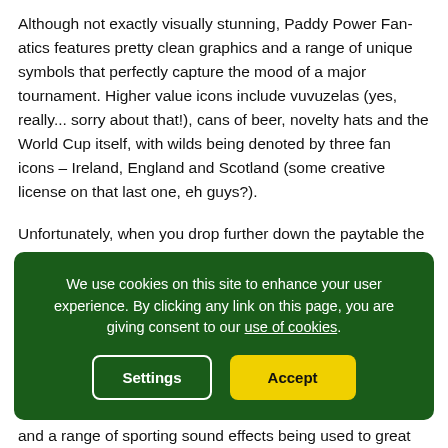Although not exactly visually stunning, Paddy Power Fan-atics features pretty clean graphics and a range of unique symbols that perfectly capture the mood of a major tournament. Higher value icons include vuvuzelas (yes, really... sorry about that!), cans of beer, novelty hats and the World Cup itself, with wilds being denoted by three fan icons – Ireland, England and Scotland (some creative license on that last one, eh guys?).
Unfortunately, when you drop further down the paytable the reels are also filled with regular Ace-through-9 playing card symbols, which diminished the quality of the overall theme somewhat. Nevertheless, the background features a stadium
We use cookies on this site to enhance your user experience. By clicking any link on this page, you are giving consent to our use of cookies.
and a range of sporting sound effects being used to great